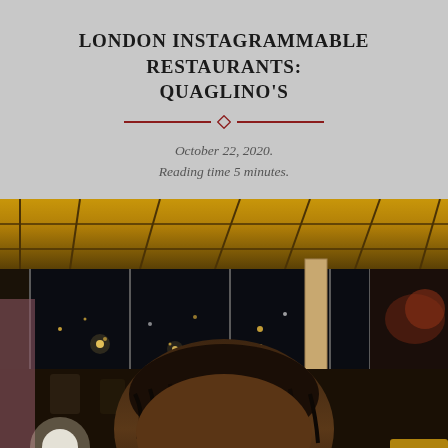LONDON INSTAGRAMMABLE RESTAURANTS: QUAGLINO'S
October 22, 2020.
Reading time 5 minutes.
[Figure (photo): Interior photo of Quaglino's restaurant showing a woman with braided hair in the foreground, with the restaurant's elegant interior featuring golden ceiling panels, large windows, pendant lights, and a cylindrical column in the background.]